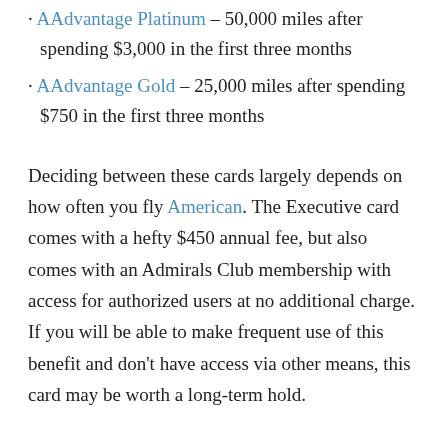AAdvantage Platinum – 50,000 miles after spending $3,000 in the first three months
AAdvantage Gold – 25,000 miles after spending $750 in the first three months
Deciding between these cards largely depends on how often you fly American. The Executive card comes with a hefty $450 annual fee, but also comes with an Admirals Club membership with access for authorized users at no additional charge. If you will be able to make frequent use of this benefit and don't have access via other means, this card may be worth a long-term hold.